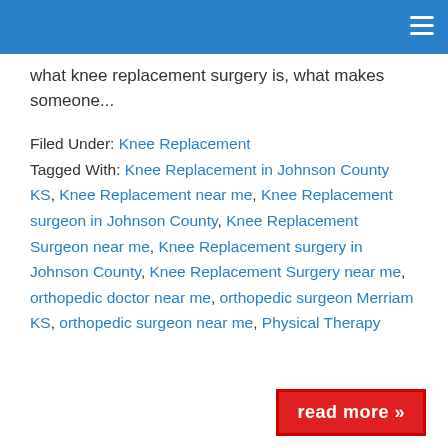what knee replacement surgery is, what makes someone...
Filed Under: Knee Replacement
Tagged With: Knee Replacement in Johnson County KS, Knee Replacement near me, Knee Replacement surgeon in Johnson County, Knee Replacement Surgeon near me, Knee Replacement surgery in Johnson County, Knee Replacement Surgery near me, orthopedic doctor near me, orthopedic surgeon Merriam KS, orthopedic surgeon near me, Physical Therapy
read more »